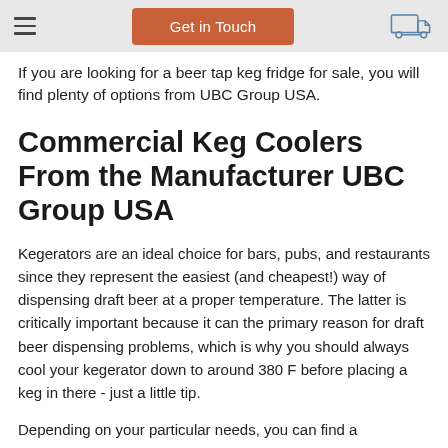Get in Touch
If you are looking for a beer tap keg fridge for sale, you will find plenty of options from UBC Group USA.
Commercial Keg Coolers From the Manufacturer UBC Group USA
Kegerators are an ideal choice for bars, pubs, and restaurants since they represent the easiest (and cheapest!) way of dispensing draft beer at a proper temperature. The latter is critically important because it can the primary reason for draft beer dispensing problems, which is why you should always cool your kegerator down to around 380 F before placing a keg in there - just a little tip.
Depending on your particular needs, you can find a